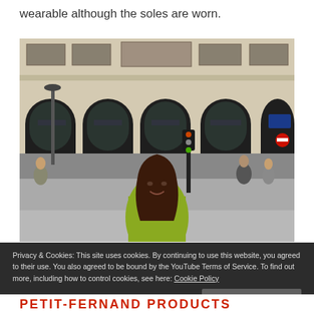wearable although the soles are worn.
[Figure (photo): Woman in yellow jacket smiling in front of a classic Parisian building facade with arched storefronts, street scene with pedestrians in background.]
Privacy & Cookies: This site uses cookies. By continuing to use this website, you agreed to their use. You also agreed to be bound by the YouTube Terms of Service. To find out more, including how to control cookies, see here: Cookie Policy
Close and accept
PETIT-FERNAND PRODUCTS